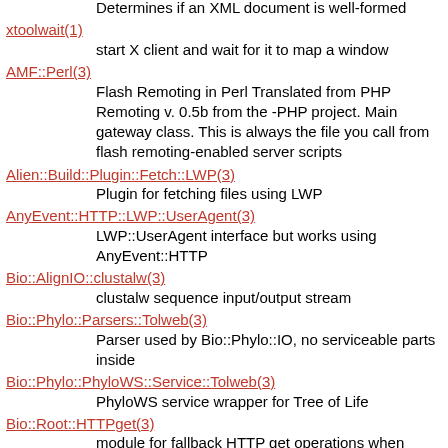Determines if an XML document is well-formed
xtoolwait(1)
    start X client and wait for it to map a window
AMF::Perl(3)
    Flash Remoting in Perl Translated from PHP Remoting v. 0.5b from the -PHP project. Main gateway class. This is always the file you call from flash remoting-enabled server scripts
Alien::Build::Plugin::Fetch::LWP(3)
    Plugin for fetching files using LWP
AnyEvent::HTTP::LWP::UserAgent(3)
    LWP::UserAgent interface but works using AnyEvent::HTTP
Bio::AlignIO::clustalw(3)
    clustalw sequence input/output stream
Bio::Phylo::Parsers::Tolweb(3)
    Parser used by Bio::Phylo::IO, no serviceable parts inside
Bio::Phylo::PhyloWS::Service::Tolweb(3)
    PhyloWS service wrapper for Tree of Life
Bio::Root::HTTPget(3)
    module for fallback HTTP get operations when LWP:: is unavailable
Blog::Spam::Plugin::00whitelist(3)
    Always permit comments from some IP addresses